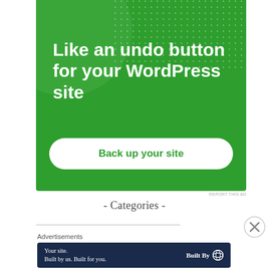[Figure (illustration): Green advertisement banner with white dot pattern in top-right, circular highlight in top-left. Bold white text reads 'Like an undo button for your WordPress site' with a white rounded button labeled 'Back up your site' in green text.]
REPORT THIS AD
- Categories -
Advertisements
[Figure (illustration): Dark navy blue advertisement banner. Left side shows text 'Your site. Built by us. Built for you.' Right side shows 'Built By' with WordPress logo in white.]